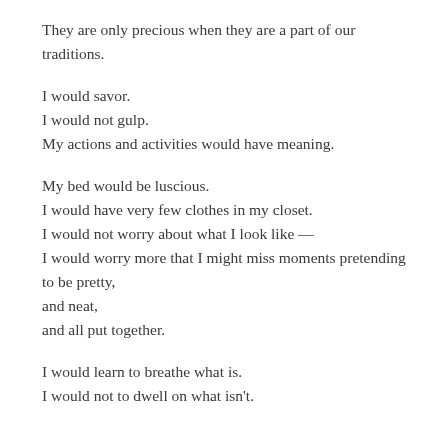They are only precious when they are a part of our traditions.
I would savor.
I would not gulp.
My actions and activities would have meaning.
My bed would be luscious.
I would have very few clothes in my closet.
I would not worry about what I look like —
I would worry more that I might miss moments pretending to be pretty,
and neat,
and all put together.
I would learn to breathe what is.
I would not to dwell on what isn't.